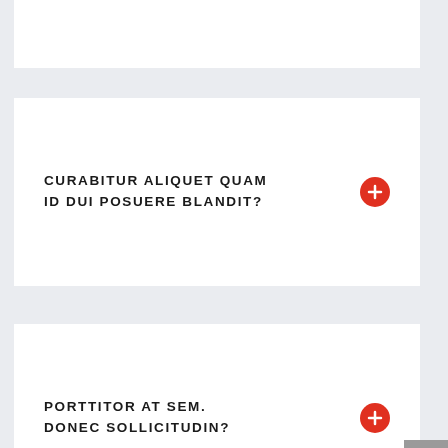CURABITUR ALIQUET QUAM ID DUI POSUERE BLANDIT?
PORTTITOR AT SEM. DONEC SOLLICITUDIN?
MAURIS BLANDIT ALIQUET INCIDUNT NIBH?